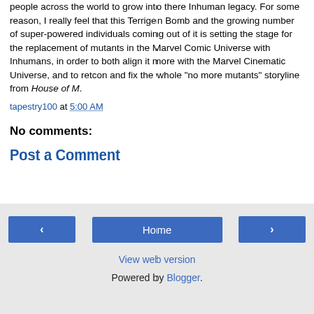people across the world to grow into there Inhuman legacy. For some reason, I really feel that this Terrigen Bomb and the growing number of super-powered individuals coming out of it is setting the stage for the replacement of mutants in the Marvel Comic Universe with Inhumans, in order to both align it more with the Marvel Cinematic Universe, and to retcon and fix the whole "no more mutants" storyline from House of M.
tapestry100 at 5:00 AM
No comments:
Post a Comment
‹  Home  ›  View web version  Powered by Blogger.